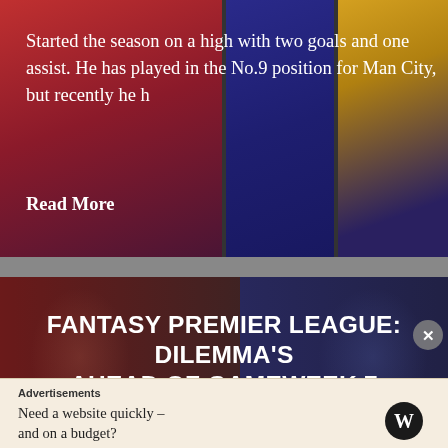Started the season on a high with two goals and one assist. He has played in the No.9 position for Man City, but recently he h
Read More
[Figure (photo): Background collage of football jerseys in red/dark and purple/blue tones]
FANTASY PREMIER LEAGUE: DILEMMA'S AHEAD OF GAMEWEEK 7
[Figure (photo): Advertisement banner with WordPress logo. Text: Advertisements / Need a website quickly – and on a budget?]
Advertisements
Need a website quickly – and on a budget?